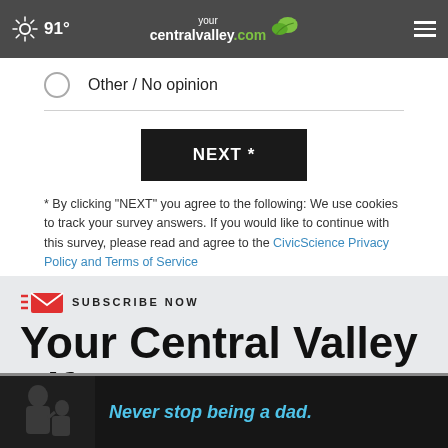91° yourcentralvalley.com
Other / No opinion
NEXT *
* By clicking "NEXT" you agree to the following: We use cookies to track your survey answers. If you would like to continue with this survey, please read and agree to the CivicScience Privacy Policy and Terms of Service
SUBSCRIBE NOW
Your Central Valley Life
[Figure (photo): Ad banner showing a father and child with text 'Never stop being a dad.']